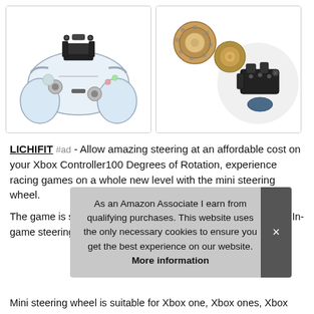[Figure (photo): Xbox controller with mini steering wheel attachment mounted on top]
[Figure (photo): Ball bearings and mini steering wheel controller attachment parts on white background]
LICHIFIT #ad - Allow amazing steering at an affordable cost on your Xbox Controller100 Degrees of Rotation, experience racing games on a whole new level with the mini steering wheel.
The game is set to more than 75 proposed steering sensitivity. In-game steering sensitivity adjustments may be required to fully
As an Amazon Associate I earn from qualifying purchases. This website uses the only necessary cookies to ensure you get the best experience on our website. More information
Mini steering wheel is suitable for Xbox one, Xbox ones, Xbox